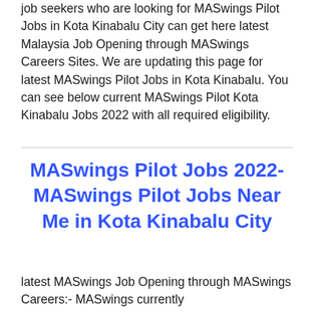job seekers who are looking for MASwings Pilot Jobs in Kota Kinabalu City can get here latest Malaysia Job Opening through MASwings Careers Sites. We are updating this page for latest MASwings Pilot Jobs in Kota Kinabalu. You can see below current MASwings Pilot Kota Kinabalu Jobs 2022 with all required eligibility.
MASwings Pilot Jobs 2022- MASwings Pilot Jobs Near Me in Kota Kinabalu City
latest MASwings Job Opening through MASwings Careers:- MASwings currently